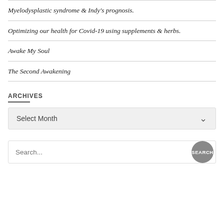Myelodysplastic syndrome & Indy's prognosis.
Optimizing our health for Covid-19 using supplements & herbs.
Awake My Soul
The Second Awakening
ARCHIVES
Select Month
Search...